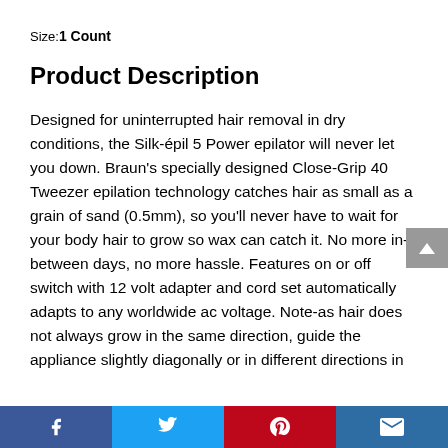Size: 1 Count
Product Description
Designed for uninterrupted hair removal in dry conditions, the Silk-épil 5 Power epilator will never let you down. Braun's specially designed Close-Grip 40 Tweezer epilation technology catches hair as small as a grain of sand (0.5mm), so you'll never have to wait for your body hair to grow so wax can catch it. No more in-between days, no more hassle. Features on or off switch with 12 volt adapter and cord set automatically adapts to any worldwide ac voltage. Note-as hair does not always grow in the same direction, guide the appliance slightly diagonally or in different directions in
Facebook | Twitter | Pinterest | Email